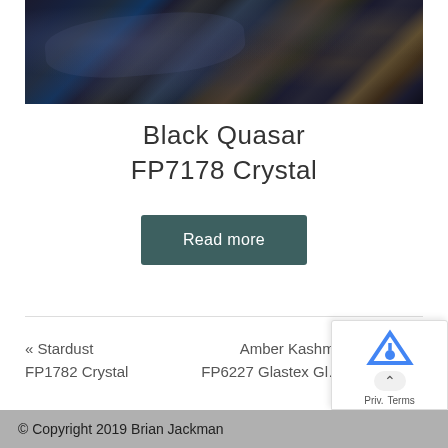[Figure (photo): Close-up photo of Black Quasar FP7178 Crystal granite surface — dark black/charcoal stone with blue-grey veining and golden/amber mineral flecks]
Black Quasar FP7178 Crystal
Read more
« Stardust FP1782 Crystal
Amber Kashmir FP6227 Glastex Gl…
© Copyright 2019 Brian Jackman